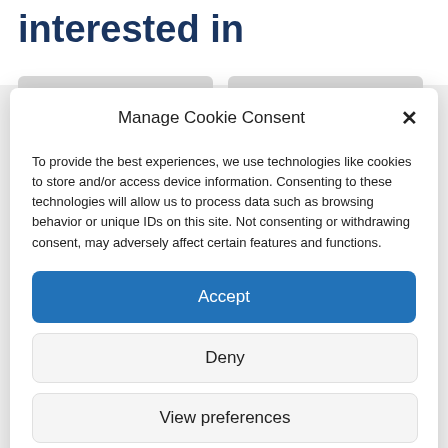interested in
Manage Cookie Consent
To provide the best experiences, we use technologies like cookies to store and/or access device information. Consenting to these technologies will allow us to process data such as browsing behavior or unique IDs on this site. Not consenting or withdrawing consent, may adversely affect certain features and functions.
Accept
Deny
View preferences
Cookie Policy  NDNA Terms and Conditions